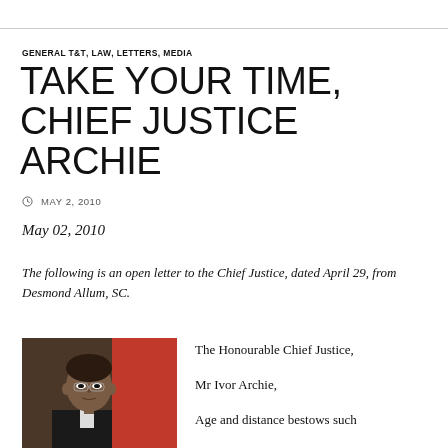GENERAL T&T, LAW, LETTERS, MEDIA
TAKE YOUR TIME, CHIEF JUSTICE ARCHIE
MAY 2, 2010
May 02, 2010
The following is an open letter to the Chief Justice, dated April 29, from Desmond Allum, SC.
[Figure (photo): Portrait photograph of a man (Mr Ivor Archie, Chief Justice) wearing glasses, against a red background]
The Honourable Chief Justice,

Mr Ivor Archie,

Age and distance bestows such